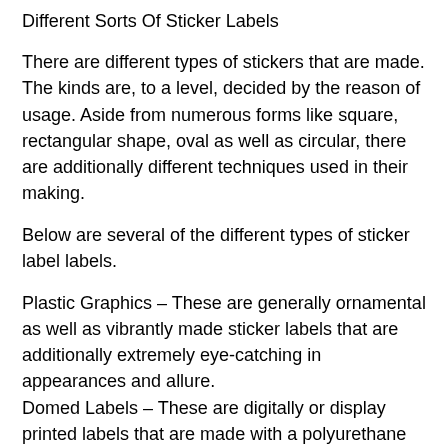Different Sorts Of Sticker Labels
There are different types of stickers that are made. The kinds are, to a level, decided by the reason of usage. Aside from numerous forms like square, rectangular shape, oval as well as circular, there are additionally different techniques used in their making.
Below are several of the different types of sticker label labels.
Plastic Graphics – These are generally ornamental as well as vibrantly made sticker labels that are additionally extremely eye-catching in appearances and allure.
Domed Labels – These are digitally or display printed labels that are made with a polyurethane layer on their surface area. The nature of the adhesive in this sort of sticker label is stress delicate. Domed sticker labels have a 3-dimensional impact that provides an improved appearance. This is utilized mostly for